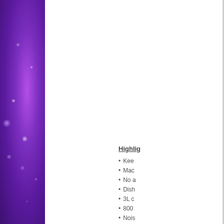[Figure (photo): Purple glittery galaxy/space background image on the left sidebar]
Highlights
Kee
Mac
No a
Dish
3L c
800
Nois
Adju
Eas
Includes
Wat